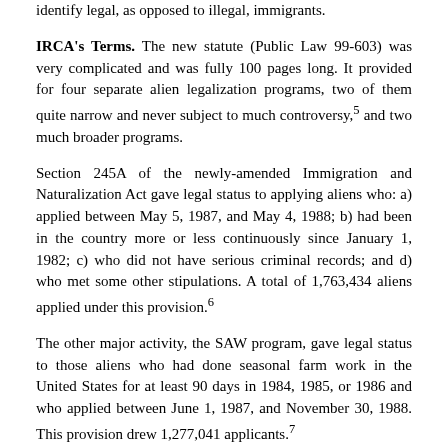identify legal, as opposed to illegal, immigrants.
IRCA's Terms. The new statute (Public Law 99-603) was very complicated and was fully 100 pages long. It provided for four separate alien legalization programs, two of them quite narrow and never subject to much controversy,5 and two much broader programs.
Section 245A of the newly-amended Immigration and Naturalization Act gave legal status to applying aliens who: a) applied between May 5, 1987, and May 4, 1988; b) had been in the country more or less continuously since January 1, 1982; c) who did not have serious criminal records; and d) who met some other stipulations. A total of 1,763,434 aliens applied under this provision.6
The other major activity, the SAW program, gave legal status to those aliens who had done seasonal farm work in the United States for at least 90 days in 1984, 1985, or 1986 and who applied between June 1, 1987, and November 30, 1988. This provision drew 1,277,041 applicants.7
Both the SAW and the pre-1982 programs created a new, and passing, legal status for those approved. They became legal Temporary Resident Aliens (TRAs), a step toward green card status. While they were in this category their access to